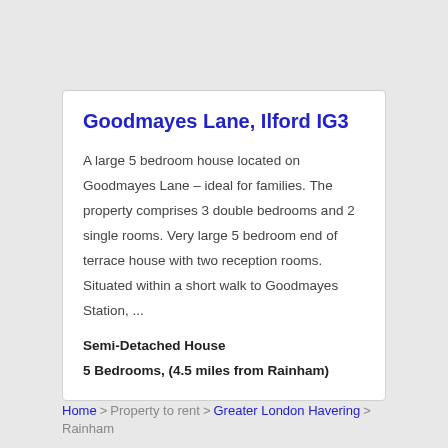Goodmayes Lane, Ilford IG3
A large 5 bedroom house located on Goodmayes Lane – ideal for families. The property comprises 3 double bedrooms and 2 single rooms. Very large 5 bedroom end of terrace house with two reception rooms. Situated within a short walk to Goodmayes Station, ...
Semi-Detached House
5 Bedrooms, (4.5 miles from Rainham)
Home > Property to rent > Greater London Havering > Rainham